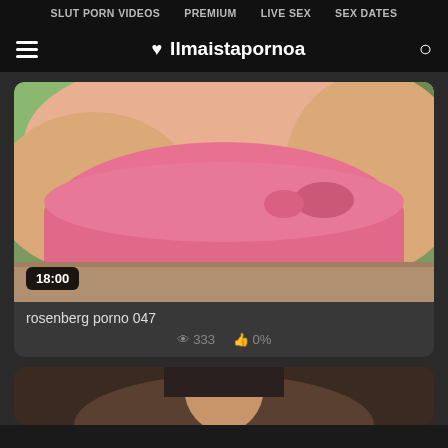SLUT PORN VIDEOS   PREMIUM   LIVE SEX   SEX DATES
♥ Ilmaistapornoa
[Figure (photo): Video thumbnail showing person in pink swimwear outdoors with duration badge 18:00]
rosenberg porno 047
333  0%
[Figure (photo): Partial thumbnail of second video card at bottom]